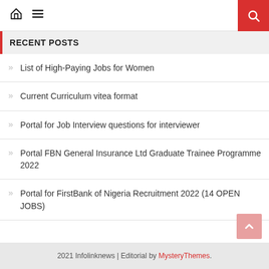Navigation bar with home icon, menu icon, and search button
RECENT POSTS
List of High-Paying Jobs for Women
Current Curriculum vitea format
Portal for Job Interview questions for interviewer
Portal FBN General Insurance Ltd Graduate Trainee Programme 2022
Portal for FirstBank of Nigeria Recruitment 2022 (14 OPEN JOBS)
2021 Infolinknews | Editorial by MysteryThemes.